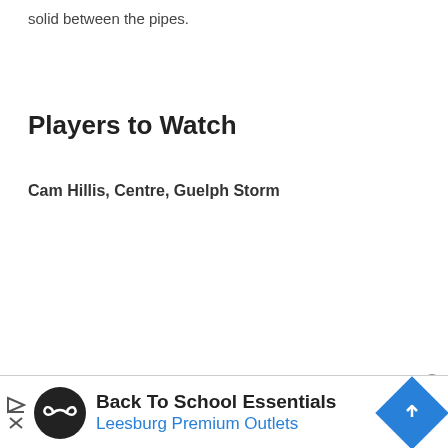solid between the pipes.
Players to Watch
Cam Hillis, Centre, Guelph Storm
[Figure (infographic): Advertisement banner: Back To School Essentials - Leesburg Premium Outlets, with circular black logo featuring infinity-like symbol, blue diamond navigation icon, and play/close controls on left.]